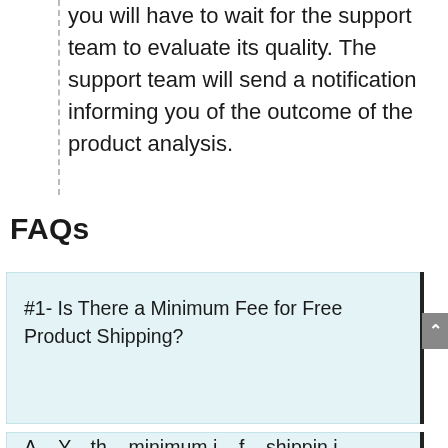you will have to wait for the support team to evaluate its quality. The support team will send a notification informing you of the outcome of the product analysis.
FAQs
#1- Is There a Minimum Fee for Free Product Shipping?
A... Y... th... minimum f... f... shipping i...